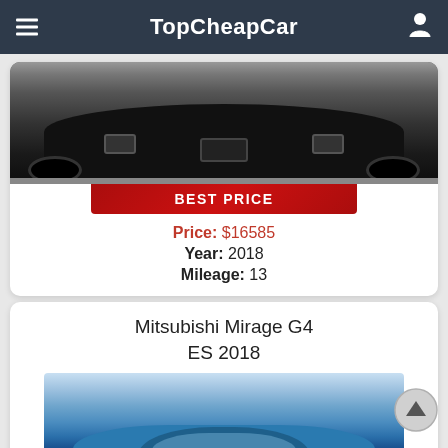TopCheapCar
[Figure (photo): Front view of a black car, partially cropped]
BEST PRICE
Price: $16585
Year: 2018
Mileage: 13
Mitsubishi Mirage G4 ES 2018
[Figure (photo): Front view of a blue Mitsubishi Mirage G4 ES 2018 in a dealership lot]